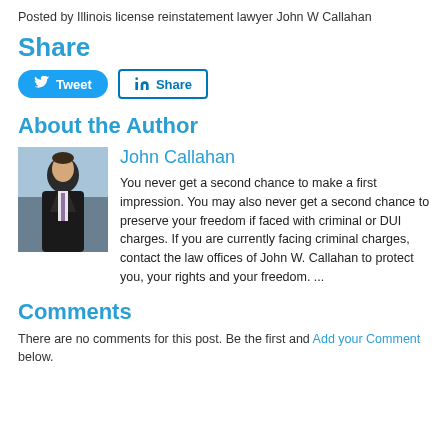Posted by Illinois license reinstatement lawyer John W Callahan
Share
[Figure (other): Social share buttons: Tweet (Twitter) and Share (LinkedIn)]
About the Author
[Figure (photo): Photo of John Callahan, a man in a dark suit with a purple tie, standing outdoors]
John Callahan
You never get a second chance to make a first impression. You may also never get a second chance to preserve your freedom if faced with criminal or DUI charges. If you are currently facing criminal charges, contact the law offices of John W. Callahan to protect you, your rights and your freedom. ...
Comments
There are no comments for this post. Be the first and Add your Comment below.